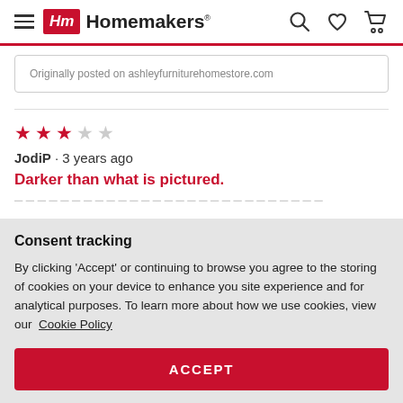Homemakers
Originally posted on ashleyfurniturehomestore.com
★★★☆☆ JodiP · 3 years ago
Darker than what is pictured.
Consent tracking
By clicking 'Accept' or continuing to browse you agree to the storing of cookies on your device to enhance you site experience and for analytical purposes. To learn more about how we use cookies, view our Cookie Policy
ACCEPT